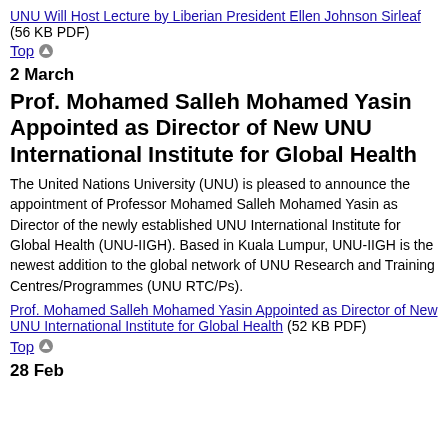UNU Will Host Lecture by Liberian President Ellen Johnson Sirleaf (56 KB PDF)
Top
2 March
Prof. Mohamed Salleh Mohamed Yasin Appointed as Director of New UNU International Institute for Global Health
The United Nations University (UNU) is pleased to announce the appointment of Professor Mohamed Salleh Mohamed Yasin as Director of the newly established UNU International Institute for Global Health (UNU-IIGH). Based in Kuala Lumpur, UNU-IIGH is the newest addition to the global network of UNU Research and Training Centres/Programmes (UNU RTC/Ps).
Prof. Mohamed Salleh Mohamed Yasin Appointed as Director of New UNU International Institute for Global Health (52 KB PDF)
Top
28 Feb